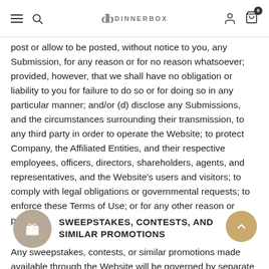DINNERBOX
post or allow to be posted, without notice to you, any Submission, for any reason or for no reason whatsoever; provided, however, that we shall have no obligation or liability to you for failure to do so or for doing so in any particular manner; and/or (d) disclose any Submissions, and the circumstances surrounding their transmission, to any third party in order to operate the Website; to protect Company, the Affiliated Entities, and their respective employees, officers, directors, shareholders, agents, and representatives, and the Website's users and visitors; to comply with legal obligations or governmental requests; to enforce these Terms of Use; or for any other reason or purpose.
SWEEPSTAKES, CONTESTS, AND SIMILAR PROMOTIONS
Any sweepstakes, contests, or similar promotions made available through the Website will be governed by separate